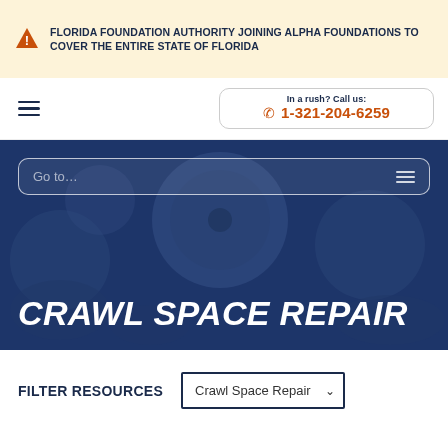FLORIDA FOUNDATION AUTHORITY JOINING ALPHA FOUNDATIONS TO COVER THE ENTIRE STATE OF FLORIDA
In a rush? Call us: 1-321-204-6259
[Figure (screenshot): Hero banner image showing workers in a crawl space with a dark blue overlay, a search/navigation bar labeled 'Go to...' with a hamburger menu icon on the right, and large bold italic white text reading 'CRAWL SPACE REPAIR']
FILTER RESOURCES    Crawl Space Repair